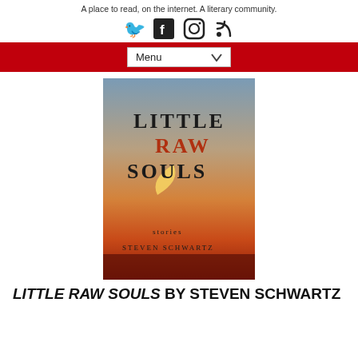A place to read, on the internet. A literary community.
[Figure (infographic): Social media icons: Twitter, Facebook, Instagram, RSS feed]
[Figure (screenshot): Red navigation bar with a Menu dropdown]
[Figure (photo): Book cover of 'Little Raw Souls: Stories' by Steven Schwartz. The cover shows a sunset sky gradient from blue-grey at top to orange-red at bottom, with a crescent moon. Title text 'LITTLE RAW SOULS' in large serif font with 'RAW' in red/orange. Below: 'stories' and 'STEVEN SCHWARTZ'.]
LITTLE RAW SOULS BY STEVEN SCHWARTZ